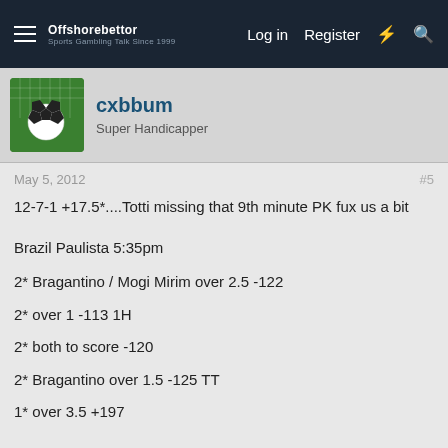Offshorebettor | Log in | Register
cxbbum
Super Handicapper
May 5, 2012  #5
12-7-1 +17.5*....Totti missing that 9th minute PK fux us a bit
Brazil Paulista 5:35pm
2* Bragantino / Mogi Mirim over 2.5 -122
2* over 1 -113 1H
2* both to score -120
2* Bragantino over 1.5 -125 TT
1* over 3.5 +197